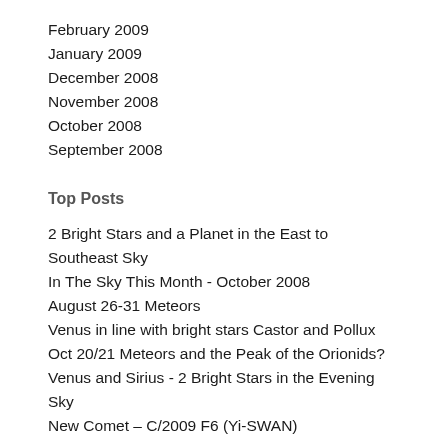February 2009
January 2009
December 2008
November 2008
October 2008
September 2008
Top Posts
2 Bright Stars and a Planet in the East to Southeast Sky
In The Sky This Month - October 2008
August 26-31 Meteors
Venus in line with bright stars Castor and Pollux
Oct 20/21 Meteors and the Peak of the Orionids?
Venus and Sirius - 2 Bright Stars in the Evening Sky
New Comet – C/2009 F6 (Yi-SWAN)